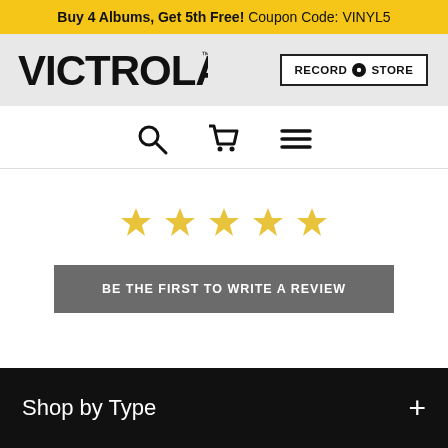Buy 4 Albums, Get 5th Free! Coupon Code: VINYL5
[Figure (logo): Victrola logo wordmark in bold black uppercase letters]
[Figure (logo): RECORD STORE button with circular vinyl record icon]
[Figure (infographic): Navigation icons: search magnifying glass, shopping cart, hamburger menu]
[Figure (infographic): Five gold star rating icons]
BE THE FIRST TO WRITE A REVIEW
Shop by Type
Shop by Type +